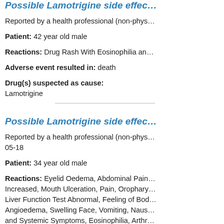Possible Lamotrigine side effec...
Reported by a health professional (non-phys...
Patient: 42 year old male
Reactions: Drug Rash With Eosinophilia an...
Adverse event resulted in: death
Drug(s) suspected as cause:
Lamotrigine
Possible Lamotrigine side effec...
Reported by a health professional (non-phys... 05-18
Patient: 34 year old male
Reactions: Eyelid Oedema, Abdominal Pain... Increased, Mouth Ulceration, Pain, Orophary... Liver Function Test Abnormal, Feeling of Bod... Angioedema, Swelling Face, Vomiting, Naus... and Systemic Symptoms, Eosinophilia, Arthr...